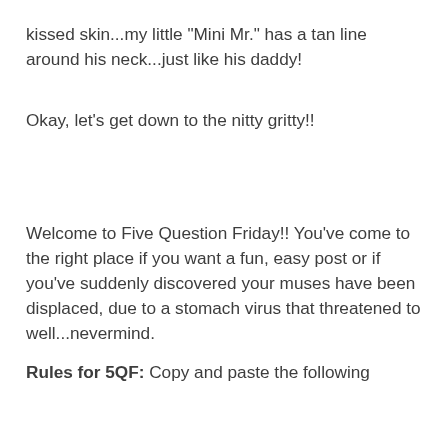kissed skin...my little "Mini Mr." has a tan line around his neck...just like his daddy!
Okay, let's get down to the nitty gritty!!
Welcome to Five Question Friday!! You've come to the right place if you want a fun, easy post or if you've suddenly discovered your muses have been displaced, due to a stomach virus that threatened to well...nevermind.
Rules for 5QF: Copy and paste the following